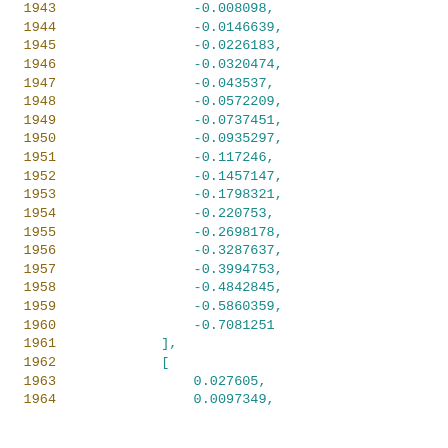1943  -0.008098,
1944  -0.0146639,
1945  -0.0226183,
1946  -0.0320474,
1947  -0.043537,
1948  -0.0572209,
1949  -0.0737451,
1950  -0.0935297,
1951  -0.117246,
1952  -0.1457147,
1953  -0.1798321,
1954  -0.220753,
1955  -0.2698178,
1956  -0.3287637,
1957  -0.3994753,
1958  -0.4842845,
1959  -0.5860359,
1960  -0.7081251
1961  ],
1962  [
1963    0.027605,
1964    0.0097349,